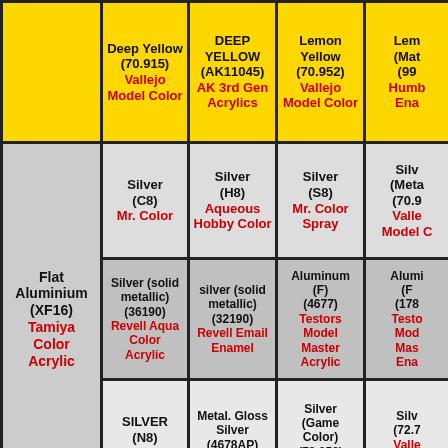|  | Deep Yellow (70.915) Vallejo Model Color | DEEP YELLOW (AK11045) AK 3rd Gen Acrylics | Lemon Yellow (70.952) Vallejo Model Color | Lem (Mat (99... Humb Ena... |
| --- | --- | --- | --- | --- |
| Flat Aluminium (XF16) Tamiya Color Acrylic | Silver (C8) Mr. Color | Silver (H8) Aqueous Hobby Color | Silver (S8) Mr. Color Spray | Silv (Meta (70.9... Valle Model C... |
| Flat Aluminium (XF16) Tamiya Color Acrylic | Silver (solid metallic) (36190) Revell Aqua Color Acrylic | silver (solid metallic) (32190) Revell Email Enamel | Aluminum (F) (4677) Testors Model Master Acrylic | Alumi (F (178... Testo Mod Mas Ena... |
| Flat Aluminium (XF16) Tamiya Color Acrylic | SILVER (N8) Acrysion | Metal. Gloss Silver (4678AP) Italeri | Silver (Game Color) (72.052) Vallejo | Silv (72.7... Valle Game... |